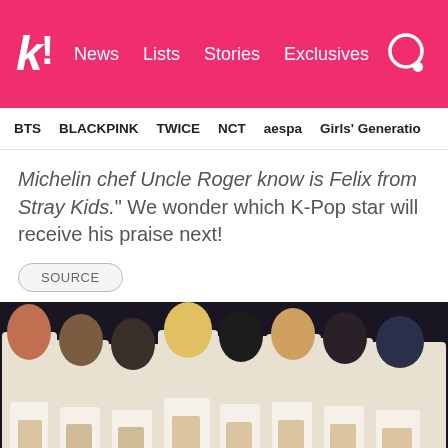k! News Lists Stories Exclusives
BTS  BLACKPINK  TWICE  NCT  aespa  Girls' Generation
Michelin chef Uncle Roger know is Felix from Stray Kids." We wonder which K-Pop star will receive his praise next!
SOURCE
[Figure (photo): Group photo of Stray Kids members standing on stage in white outfits and decorative belts, with 'Stray Kids' text overlay at bottom]